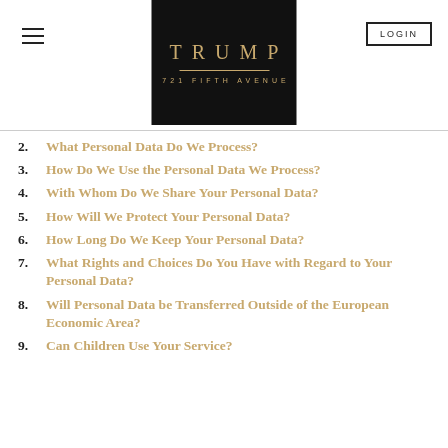[Figure (logo): Trump 721 Fifth Avenue logo on black background with gold text]
2. What Personal Data Do We Process?
3. How Do We Use the Personal Data We Process?
4. With Whom Do We Share Your Personal Data?
5. How Will We Protect Your Personal Data?
6. How Long Do We Keep Your Personal Data?
7. What Rights and Choices Do You Have with Regard to Your Personal Data?
8. Will Personal Data be Transferred Outside of the European Economic Area?
9. Can Children Use Your Service?